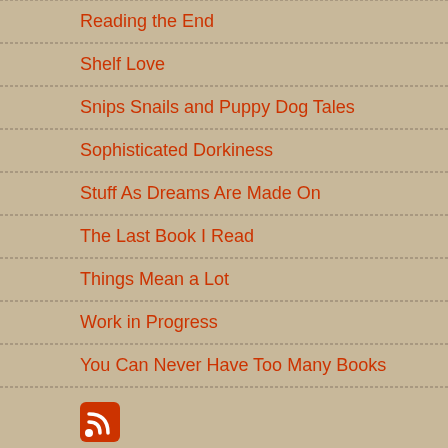Reading the End
Shelf Love
Snips Snails and Puppy Dog Tales
Sophisticated Dorkiness
Stuff As Dreams Are Made On
The Last Book I Read
Things Mean a Lot
Work in Progress
You Can Never Have Too Many Books
[Figure (logo): RSS feed icon - orange square with white wifi/signal waves]
RSS Feed
ARCHIVES: